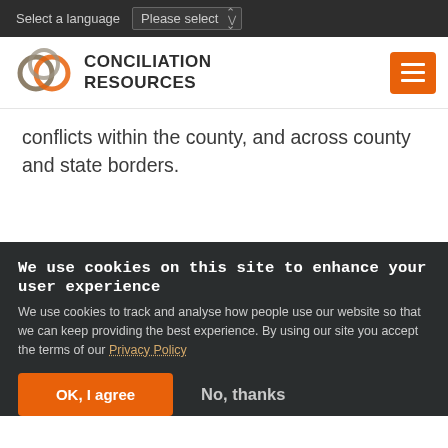Select a language  Please select
[Figure (logo): Conciliation Resources logo with interlocking circles in orange and brown/grey]
conflicts within the county, and across county and state borders.
We use cookies on this site to enhance your user experience
We use cookies to track and analyse how people use our website so that we can keep providing the best experience. By using our site you accept the terms of our Privacy Policy
OK, I agree   No, thanks